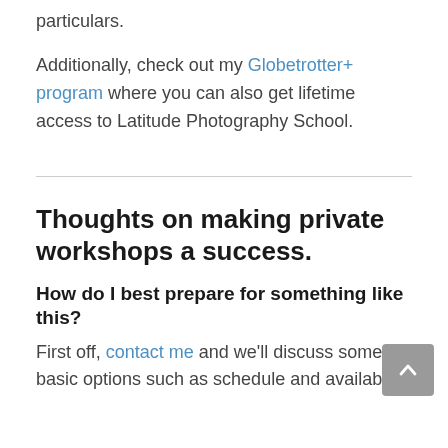particulars.
Additionally, check out my Globetrotter+ program where you can also get lifetime access to Latitude Photography School.
Thoughts on making private workshops a success.
How do I best prepare for something like this?
First off, contact me and we'll discuss some basic options such as schedule and availability